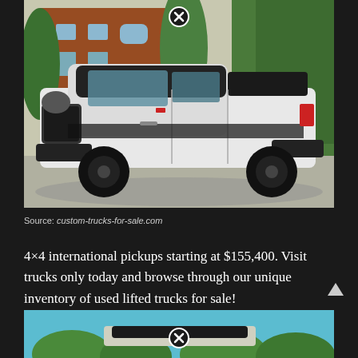[Figure (photo): Side profile of a white and black custom Ford pickup truck with black rims, parked on a driveway in front of a brick house with trees in the background. A close (X) button appears at the top center of the image.]
Source: custom-trucks-for-sale.com
4×4 international pickups starting at $155,400. Visit trucks only today and browse through our unique inventory of used lifted trucks for sale!
[Figure (photo): Partial bottom image showing a truck/vehicle against a blue sky background with trees. A close (X) button appears at the center of the image.]